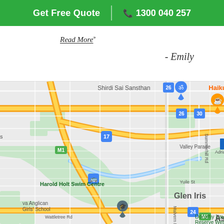Get Free Quote | 1300 040 257
Read More
- Emily
[Figure (map): Google Maps view of Glen Iris area in Melbourne, Australia, showing streets including Valley Parade, Summerhill Rd, Adrian St, Yuile St, Malvern Rd, Wattletree Rd; landmarks including Shirdi Sai Sansthan, Harold Holt Swim Centre, Caulfield Grammar School (Girls School), Dorothy Laver Reserve West; route markers M1, 17, 26, 30, 24; and suburb labels Glen Iris and Ash (partially visible).]